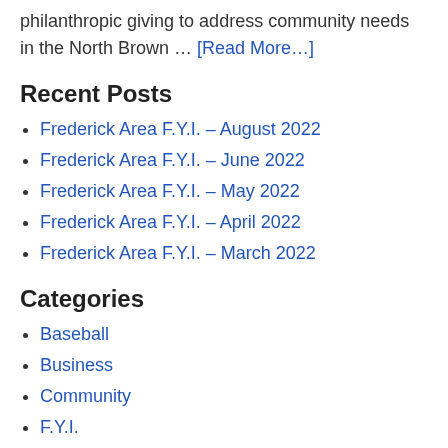philanthropic giving to address community needs in the North Brown … [Read More...]
Recent Posts
Frederick Area F.Y.I. – August 2022
Frederick Area F.Y.I. – June 2022
Frederick Area F.Y.I. – May 2022
Frederick Area F.Y.I. – April 2022
Frederick Area F.Y.I. – March 2022
Categories
Baseball
Business
Community
F.Y.I.
F5 Fishing tournament